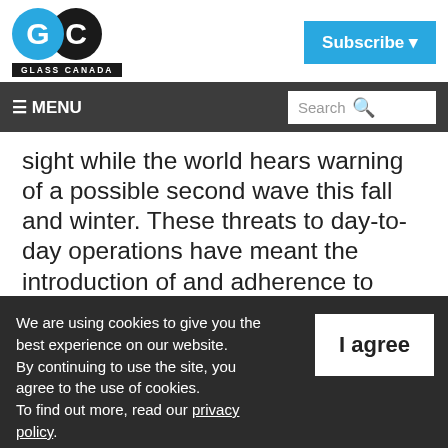[Figure (logo): Glass Canada logo with blue G circle and black C circle, text bar reading GLASS CANADA below]
[Figure (other): Subscribe button in blue with dropdown arrow]
≡ MENU   Search
sight while the world hears warning of a possible second wave this fall and winter. These threats to day-to-day operations have meant the introduction of and adherence to pandemic safety procedures in the workplace, necessary in order to keep businesses
We are using cookies to give you the best experience on our website.
By continuing to use the site, you agree to the use of cookies.
To find out more, read our privacy policy.
I agree